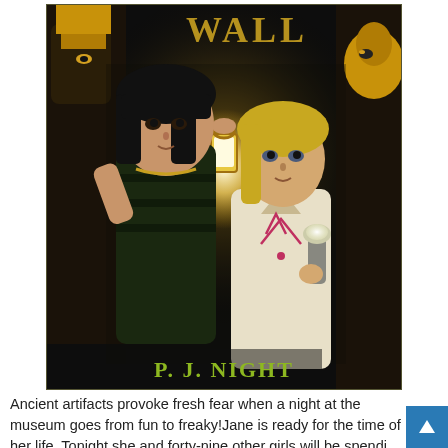[Figure (illustration): Book cover illustration showing two girls in a dark Egyptian museum setting. One girl with dark hair and Egyptian-style clothing, the other with blonde hair holding a flashlight and a glowing lantern. Egyptian statues and artifacts surround them. Author name 'P. J. NIGHT' in yellow-green text at the bottom of the cover.]
Ancient artifacts provoke fresh fear when a night at the museum goes from fun to freaky!Jane is ready for the time of her life. Tonight she and forty-nine other girls will be spending an actual night in a museum! At first, she's making lots of n...